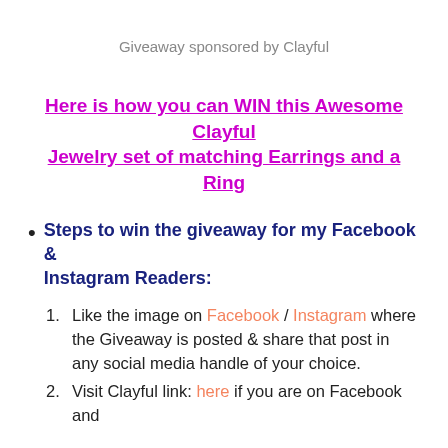Giveaway sponsored by Clayful
Here is how you can WIN this Awesome Clayful Jewelry set of matching Earrings and a Ring
Steps to win the giveaway for my Facebook & Instagram Readers:
1. Like the image on Facebook / Instagram where the Giveaway is posted & share that post in any social media handle of your choice.
2. Visit Clayful link: here if you are on Facebook and